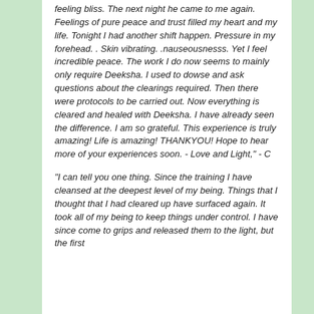feeling bliss. The next night he came to me again. Feelings of pure peace and trust filled my heart and my life. Tonight I had another shift happen. Pressure in my forehead. . Skin vibrating. .nauseousnesss. Yet I feel incredible peace. The work I do now seems to mainly only require Deeksha. I used to dowse and ask questions about the clearings required. Then there were protocols to be carried out. Now everything is cleared and healed with Deeksha. I have already seen the difference. I am so grateful. This experience is truly amazing! Life is amazing! THANKYOU! Hope to hear more of your experiences soon. - Love and Light," - C
"I can tell you one thing. Since the training I have cleansed at the deepest level of my being. Things that I thought that I had cleared up have surfaced again. It took all of my being to keep things under control. I have since come to grips and released them to the light, but the first